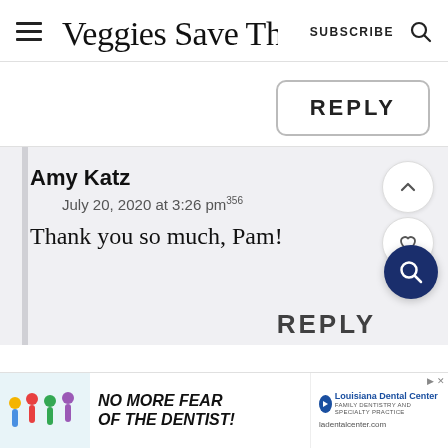Veggies Save The Day  SUBSCRIBE
REPLY
Amy Katz
July 20, 2020 at 3:26 pm
Thank you so much, Pam!
[Figure (screenshot): Advertisement banner: NO MORE FEAR OF THE DENTIST! Louisiana Dental Center, ladentalcenter.com]